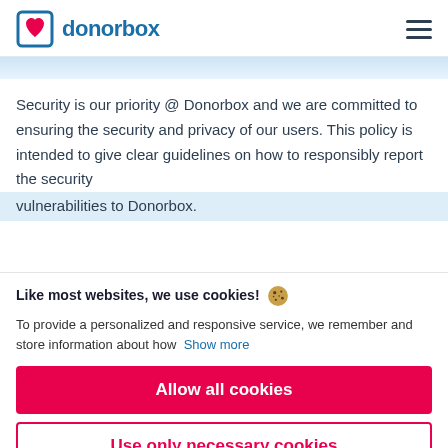donorbox
Security is our priority @ Donorbox and we are committed to ensuring the security and privacy of our users. This policy is intended to give clear guidelines on how to responsibly report the security vulnerabilities to Donorbox.
Like most websites, we use cookies! 🍪
To provide a personalized and responsive service, we remember and store information about how  Show more
Allow all cookies
Use only necessary cookies
More options ▾